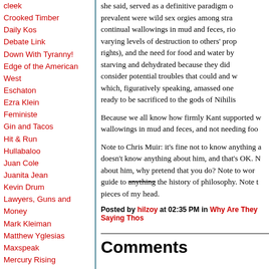cleek
Crooked Timber
Daily Kos
Debate Link
Down With Tyranny!
Edge of the American West
Eschaton
Ezra Klein
Feministe
Gin and Tacos
Hit & Run
Hullabaloo
Juan Cole
Juanita Jean
Kevin Drum
Lawyers, Guns and Money
Mark Kleiman
Matthew Yglesias
Maxspeak
Mercury Rising
Michael Cain's Random Policy
Mightywdhing
she said, served as a definitive paradigm o... prevalent were wild sex orgies among stra... continual wallowings in mud and feces, rio... varying levels of destruction to others' prop... rights), and the need for food and water by... starving and dehydrated because they did... consider potential troubles that could and w... which, figuratively speaking, amassed one... ready to be sacrificed to the gods of Nihilis...
Because we all know how firmly Kant supported w... wallowings in mud and feces, and not needing foo...
Note to Chris Muir: it's fine not to know anything a... doesn't know anything about him, and that's OK. ... about him, why pretend that you do? Note to wor... guide to anything the history of philosophy. Note t... pieces of my head.
Posted by hilzoy at 02:35 PM in Why Are They Saying Thos...
Comments